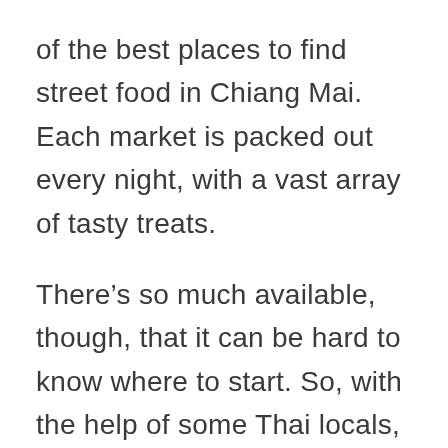of the best places to find street food in Chiang Mai. Each market is packed out every night, with a vast array of tasty treats.
There’s so much available, though, that it can be hard to know where to start. So, with the help of some Thai locals, a few blogger pals, and my own research – I put together this list of what to eat in Chiang